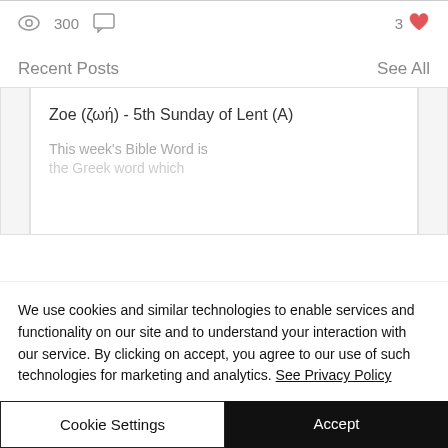300 views, 0 comments, 3 likes
Recent Posts
See All
Zoe (ζωή) - 5th Sunday of Lent (A)
This week's Bible Word is the Greek word which
We use cookies and similar technologies to enable services and functionality on our site and to understand your interaction with our service. By clicking on accept, you agree to our use of such technologies for marketing and analytics. See Privacy Policy
Cookie Settings
Accept